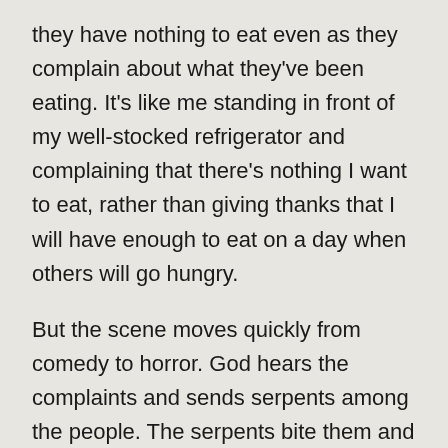they have nothing to eat even as they complain about what they've been eating. It's like me standing in front of my well-stocked refrigerator and complaining that there's nothing I want to eat, rather than giving thanks that I will have enough to eat on a day when others will go hungry.
But the scene moves quickly from comedy to horror. God hears the complaints and sends serpents among the people. The serpents bite them and they die, and it seems that the people immediately understand that the plague of snakes is a consequence of their disobedience, "we have sinned by speaking against the Lord." They ask Moses to intercede on their behalf with God, and God responds by telling the Moses to put an